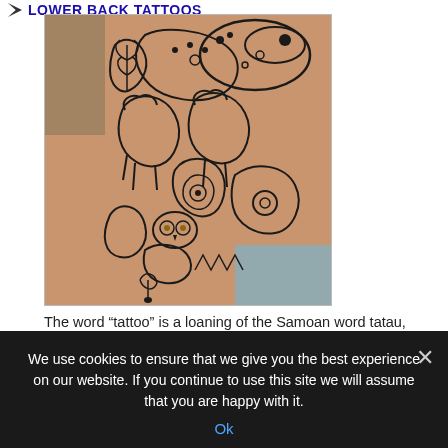LOWER BACK TATTOOS
[Figure (photo): A large black ink tattoo covering a person's back, featuring complex intertwined figures, faces, animals, and decorative patterns in a Polynesian/tribal style.]
The word “tattoo” is a loaning of the Samoan word tatau, implying to mark or strike twice (the latter describing traditional methods of using the designs). The first syllable “ta”, indicating “hand”, is duplicated two times as an onomatopoeic recommendation to the repeated nature of the action, and the final syllable “U” equates to “color”. [...]
We use cookies to ensure that we give you the best experience on our website. If you continue to use this site we will assume that you are happy with it.
Ok